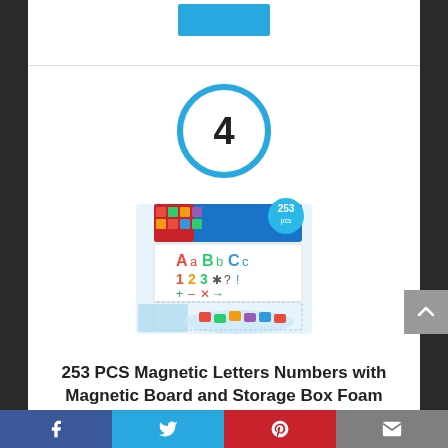[Figure (other): Blue button/badge at top center of section (cropped, partially visible)]
4
[Figure (photo): Product photo of 253 PCS Magnetic Letters Numbers set with Magnetic Board and Storage Box, showing colorful alphabet and number magnets, labeled '253 pcs']
253 PCS Magnetic Letters Numbers with Magnetic Board and Storage Box Foam
Facebook | Twitter | Pinterest | Email